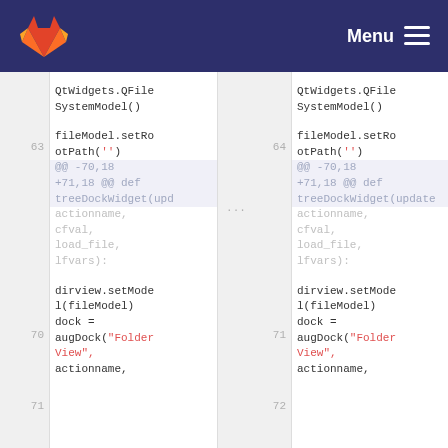GitLab — Menu
[Figure (screenshot): GitLab diff view showing two side-by-side code panels. Left panel (old, line numbers starting at 63) and right panel (new, line numbers starting at 64). Code shows Python: QtWidgets.QFileSystemModel(), fileModel.setRootPath(''), hunk header @@ -70,18 +71,18 @@ def treeDockWidget(update..., actionname, cfval, load_file, lfvars):, then dirview.setModel(fileModel), dock = augDock("Folder View", actionname,]